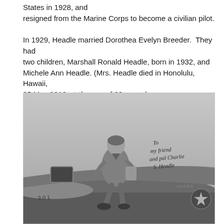States in 1928, and resigned from the Marine Corps to become a civilian pilot.

In 1929, Headle married Dorothea Evelyn Breeder.  They had two children, Marshall Ronald Headle, born in 1932, and Michele Ann Headle. (Mrs. Headle died in Honolulu, Hawaii, 25 May 2010, at the age of 99 years.)
[Figure (photo): Black and white photograph of a man in a flight suit sitting on the wing of an airplane. There is a handwritten inscription on the photo reading 'To my friend and pal Charlie S. Headle'. A star emblem is visible on the aircraft tail.]